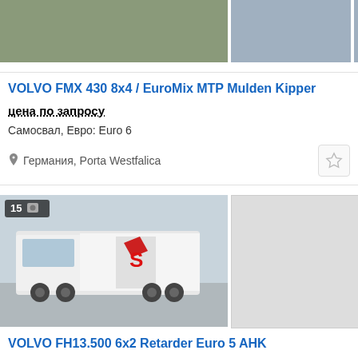[Figure (photo): Truck photos in top row: one main photo of a large truck on grass/road and one side-view photo of a truck with trailer]
VOLVO FMX 430 8x4 / EuroMix MTP Mulden Kipper
цена по запросу
Самосвал, Евро: Euro 6
Германия, Porta Westfalica
[Figure (photo): White Volvo FH truck with red S logo on trailer, photo count badge showing 15]
VOLVO FH13.500 6x2 Retarder Euro 5 AHK
36 900 €  USD  TMT